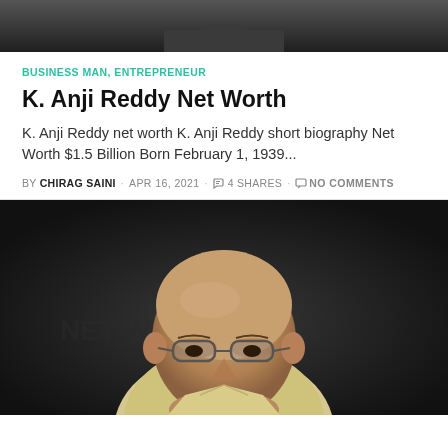[Figure (photo): Partial photo of person(s) in dark background, showing upper body, top portion cropped]
BUSINESS MAN, ENTREPRENEUR
K. Anji Reddy Net Worth
K. Anji Reddy net worth K. Anji Reddy short biography Net Worth $1.5 Billion Born February 1, 1939...
BY CHIRAG SAINI · APR 16, 2021 · 4 SHARES · NO COMMENTS
[Figure (photo): Portrait photo of K. Anji Reddy, an elderly bald man wearing glasses and a light-colored shirt, seated against a dark background]